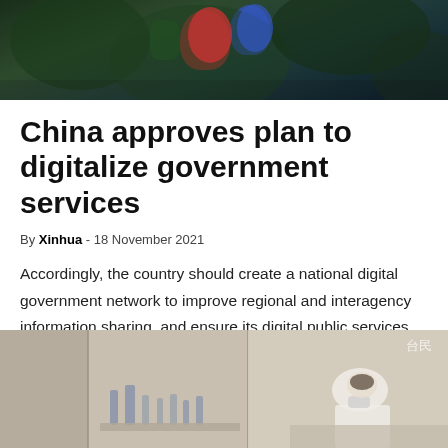[Figure (photo): Top photo — dark green outdoor background with colorful figures (red and blue) partially visible, suggesting a crowd or event scene.]
China approves plan to digitalize government services
By Xinhua - 18 November 2021
Accordingly, the country should create a national digital government network to improve regional and interagency information sharing, and ensure its digital public services cover more sectors and become more accessible, according to the meeting.
[Figure (photo): Bottom photo — interior scene showing display cases or counters, with a person in a white shirt and mask leaning over, and a watermark in the upper right corner.]